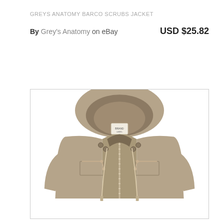GREYS ANATOMY BARCO SCRUBS JACKET
By Grey's Anatomy on eBay   USD $25.82
[Figure (photo): Product photo of a khaki/tan hooded jacket with zipper front, chest pockets with zippers, button details at collar, and drawstring hood. The jacket is displayed on a white background, showing the upper body portion with hood up.]